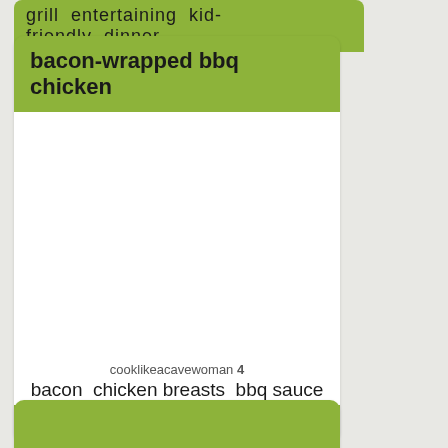grill  entertaining  kid-friendly  dinner
bacon-wrapped bbq chicken
[Figure (photo): White empty area representing a food photo placeholder for bacon-wrapped bbq chicken]
cooklikeacavewoman 4
bacon  chicken breasts  bbq sauce
american  paleo  southern  dinner
(partially visible next recipe card header)